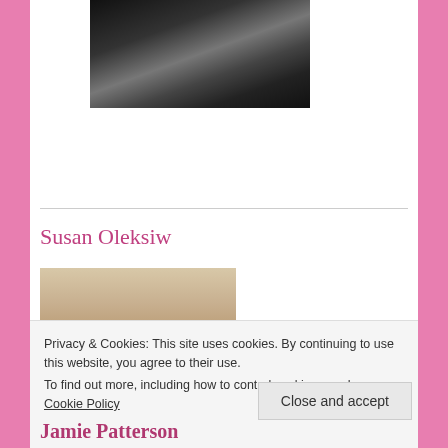[Figure (photo): Partial photo of a person at top of page, dark background]
Susan Oleksiw
[Figure (photo): Portrait photo of an older woman with white/grey hair, glasses, wearing a purple scarf]
Privacy & Cookies: This site uses cookies. By continuing to use this website, you agree to their use.
To find out more, including how to control cookies, see here: Cookie Policy
Close and accept
Jamie Patterson